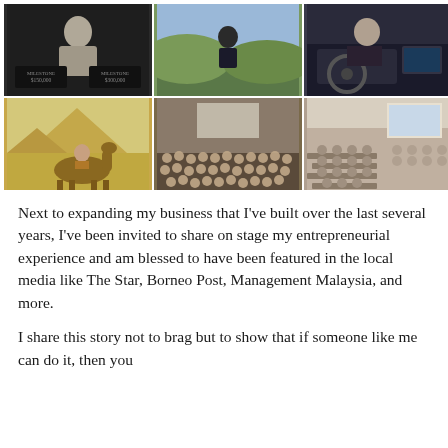[Figure (photo): A 3x2 grid of six photos: top row shows a man holding a sign with milestone amounts ($150,000 and $300,000) on dark background, a man standing in front of hills or mountains, and a person driving a luxury car. Bottom row shows a person on a camel in front of the Egyptian pyramids, a large group photo of many people in a conference setting, and an audience seated in a seminar or conference room.]
Next to expanding my business that I've built over the last several years, I've been invited to share on stage my entrepreneurial experience and am blessed to have been featured in the local media like The Star, Borneo Post, Management Malaysia, and more.
I share this story not to brag but to show that if someone like me can do it, then you